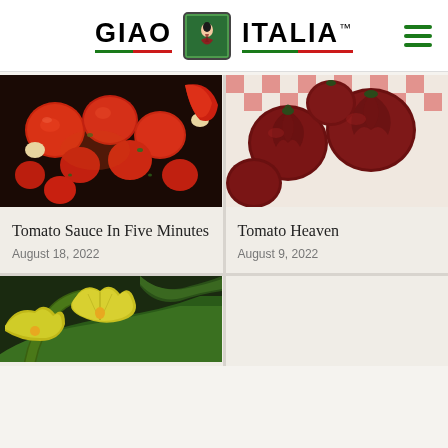GIAO ITALIA
[Figure (photo): Close-up of roasted cherry tomatoes with garlic and fresh herbs in a pan, glistening red tomatoes]
Tomato Sauce In Five Minutes
August 18, 2022
[Figure (photo): Large ribbed heirloom tomatoes, dark red-purple color, on a red and white checkered cloth]
Tomato Heaven
August 9, 2022
[Figure (photo): Zucchini blossoms, bright yellow-green flowers with large leaves, fresh vegetables]